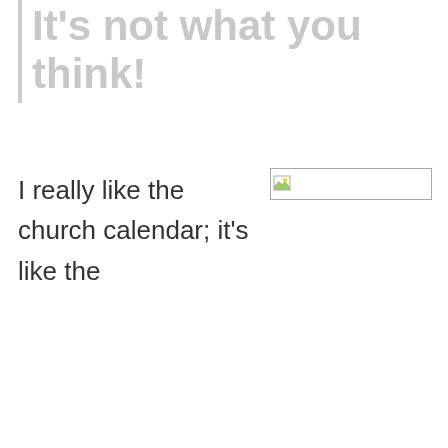It's not what you think!
I really like the church calendar; it's like the
[Figure (photo): Broken/missing image placeholder with small image icon in top-left corner]